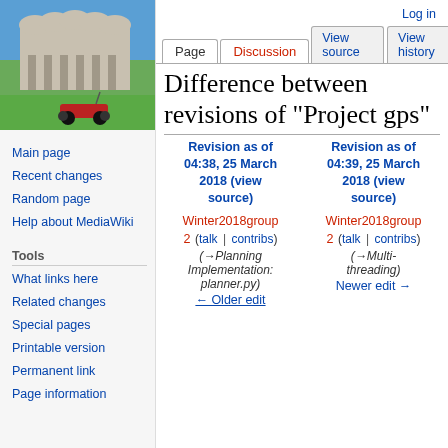[Figure (photo): Photo of a futuristic building (UCSD Geisel Library) with a concrete wavy-roofed structure against a blue sky, with green trees and grass, and an RC car toy in the foreground]
Main page
Recent changes
Random page
Help about MediaWiki
Tools
What links here
Related changes
Special pages
Printable version
Permanent link
Page information
Log in
Difference between revisions of "Project gps"
| Revision as of 04:38, 25 March 2018 (view source) | Revision as of 04:39, 25 March 2018 (view source) |
| --- | --- |
| Winter2018group2 (talk | contribs) | Winter2018group2 (talk | contribs) |
| (→Planning Implementation: planner.py) | (→Multi-threading) |
| ← Older edit | Newer edit → |